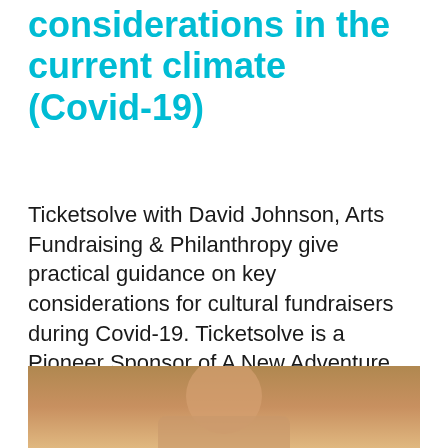considerations in the current climate (Covid-19)
Ticketsolve with David Johnson, Arts Fundraising & Philanthropy give practical guidance on key considerations for cultural fundraisers during Covid-19. Ticketsolve is a Pioneer Sponsor of A New Adventure, AMA Conference 2022
[Figure (photo): Partial photo of a person visible at the bottom of the page, cropped]